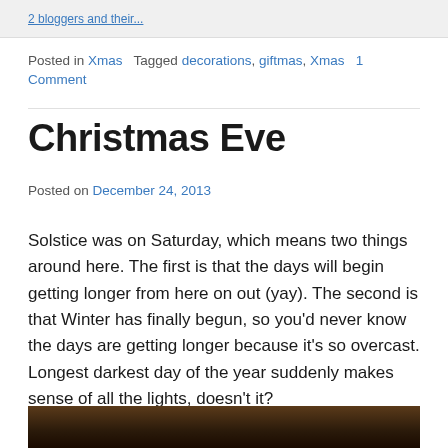2 bloggers and their...
Posted in Xmas   Tagged decorations, giftmas, Xmas   1 Comment
Christmas Eve
Posted on December 24, 2013
Solstice was on Saturday, which means two things around here. The first is that the days will begin getting longer from here on out (yay). The second is that Winter has finally begun, so you'd never know the days are getting longer because it's so overcast. Longest darkest day of the year suddenly makes sense of all the lights, doesn't it?
[Figure (photo): Bottom strip of a photograph, appears dark/nighttime scene]